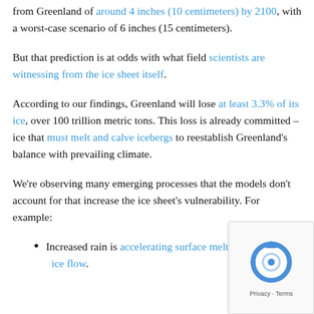from Greenland of around 4 inches (10 centimeters) by 2100, with a worst-case scenario of 6 inches (15 centimeters).
But that prediction is at odds with what field scientists are witnessing from the ice sheet itself.
According to our findings, Greenland will lose at least 3.3% of its ice, over 100 trillion metric tons. This loss is already committed – ice that must melt and calve icebergs to reestablish Greenland's balance with prevailing climate.
We're observing many emerging processes that the models don't account for that increase the ice sheet's vulnerability. For example:
Increased rain is accelerating surface melt and ice flow.